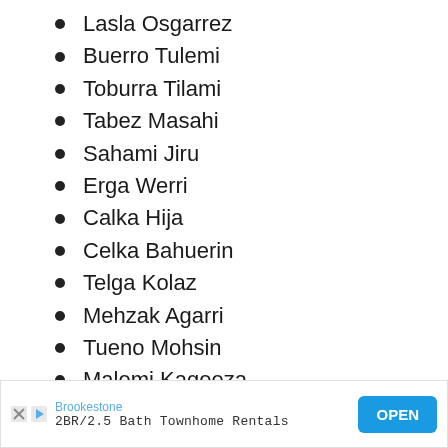Lasla Osgarrez
Buerro Tulemi
Toburra Tilami
Tabez Masahi
Sahami Jiru
Erga Werri
Calka Hija
Celka Bahuerin
Telga Kolaz
Mehzak Agarri
Tueno Mohsin
Malemi Kageeza
Rayenna Rylek
[Figure (other): Advertisement banner: Brookestone – 2BR/2.5 Bath Townhome Rentals – OPEN button]